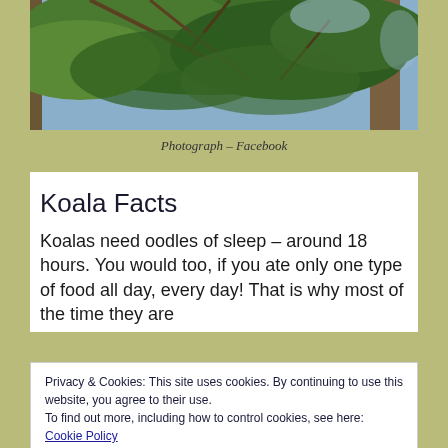[Figure (photo): Photograph of trees with branches and foliage, taken outdoors in daylight with a blue sky visible in the background.]
Photograph – Facebook
Koala Facts
Koalas need oodles of sleep – around 18 hours. You would too, if you ate only one type of food all day, every day! That is why most of the time they are
Privacy & Cookies: This site uses cookies. By continuing to use this website, you agree to their use.
To find out more, including how to control cookies, see here: Cookie Policy
Close and accept